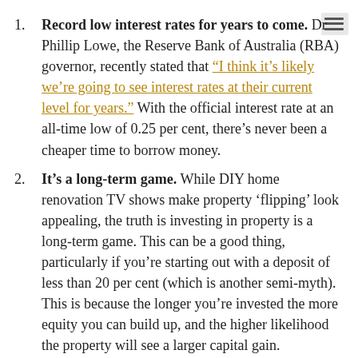Record low interest rates for years to come. Dr Phillip Lowe, the Reserve Bank of Australia (RBA) governor, recently stated that "I think it’s likely we’re going to see interest rates at their current level for years." With the official interest rate at an all-time low of 0.25 per cent, there’s never been a cheaper time to borrow money.
It’s a long-term game. While DIY home renovation TV shows make property ‘flipping’ look appealing, the truth is investing in property is a long-term game. This can be a good thing, particularly if you’re starting out with a deposit of less than 20 per cent (which is another semi-myth). This is because the longer you’re invested the more equity you can build up, and the higher likelihood the property will see a larger capital gain.